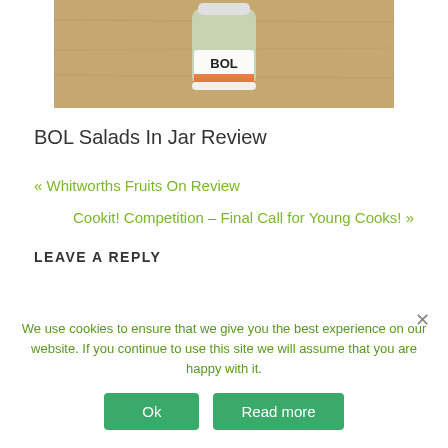[Figure (photo): A BOL salad jar product photo on a wooden surface background]
BOL Salads In Jar Review
« Whitworths Fruits On Review
Cookit! Competition – Final Call for Young Cooks! »
LEAVE A REPLY
We use cookies to ensure that we give you the best experience on our website. If you continue to use this site we will assume that you are happy with it.